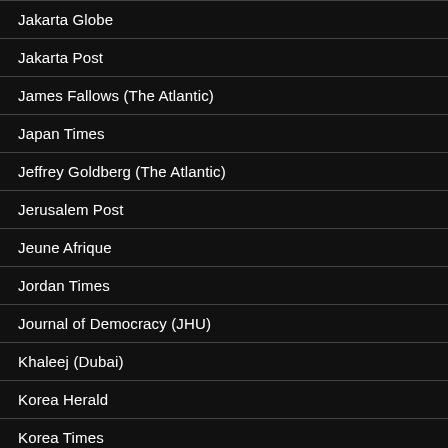Jakarta Globe
Jakarta Post
James Fallows (The Atlantic)
Japan Times
Jeffrey Goldberg (The Atlantic)
Jerusalem Post
Jeune Afrique
Jordan Times
Journal of Democracy (JHU)
Khaleej (Dubai)
Korea Herald
Korea Times